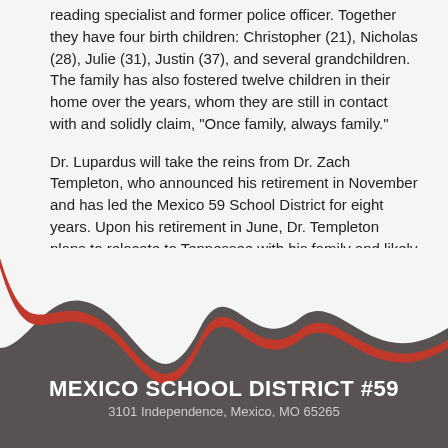reading specialist and former police officer. Together they have four birth children: Christopher (21), Nicholas (28), Julie (31), Justin (37), and several grandchildren. The family has also fostered twelve children in their home over the years, whom they are still in contact with and solidly claim, “Once family, always family.”
Dr. Lupardus will take the reins from Dr. Zach Templeton, who announced his retirement in November and has led the Mexico 59 School District for eight years. Upon his retirement in June, Dr. Templeton plans to relocate to Tennessee with his family and likely pursue another educational endeavor.
MEXICO SCHOOL DISTRICT #59
3101 Independence, Mexico, MO 65265